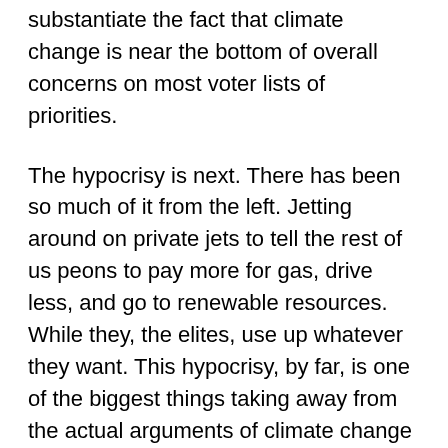substantiate the fact that climate change is near the bottom of overall concerns on most voter lists of priorities.
The hypocrisy is next. There has been so much of it from the left. Jetting around on private jets to tell the rest of us peons to pay more for gas, drive less, and go to renewable resources. While they, the elites, use up whatever they want. This hypocrisy, by far, is one of the biggest things taking away from the actual arguments of climate change that have at least a little merit to them. Because the climate is changing. Whether you believe in a creationist 6,000-year time frame or an evolutionist 4+ billion year time frame, the bottom line is, that it's only